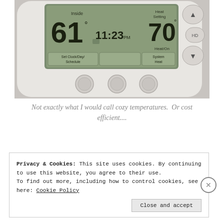[Figure (photo): Close-up photo of a digital thermostat showing inside temperature of 61°, time 11:23, and Heat Setting of 70°. System set to Heat. Three buttons below the display.]
Not exactly what I would call cozy temperatures.  Or cost efficient....
Privacy & Cookies: This site uses cookies. By continuing to use this website, you agree to their use.
To find out more, including how to control cookies, see here: Cookie Policy